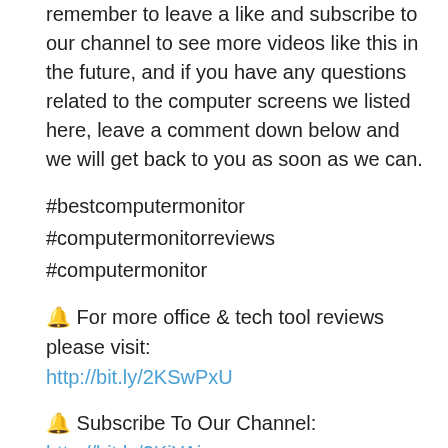remember to leave a like and subscribe to our channel to see more videos like this in the future, and if you have any questions related to the computer screens we listed here, leave a comment down below and we will get back to you as soon as we can.
#bestcomputermonitor
#computermonitorreviews
#computermonitor
🔔 For more office & tech tool reviews please visit:
http://bit.ly/2KSwPxU
🔔 Subscribe To Our Channel: http://bit.ly/2KjYAjr
Disclaimer: Portions of footage found in this video is not original content produced by Powertoolbuzz. Portions of stock footage of products was gathered from multiple